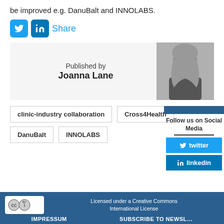be improved e.g. DanuBalt and INNOLABS.
Share
Published by
Joanna Lane
[Figure (photo): Black and white portrait photo of Joanna Lane]
clinic-industry collaboration
Cross4Health
DanuBalt
INNOLABS
Follow us on Social Media
twitter
linkedin
Licensed under a Creative Commons International License
IMPRESSUM   SUBSCRIBE TO NEWSL…